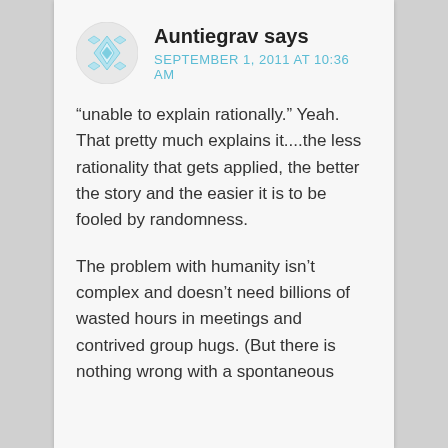[Figure (illustration): Circular avatar icon with a geometric diamond/snowflake pattern in light blue and white]
Auntiegrav says
SEPTEMBER 1, 2011 AT 10:36 AM
“unable to explain rationally.” Yeah. That pretty much explains it....the less rationality that gets applied, the better the story and the easier it is to be fooled by randomness.
The problem with humanity isn’t complex and doesn’t need billions of wasted hours in meetings and contrived group hugs. (But there is nothing wrong with a spontaneous